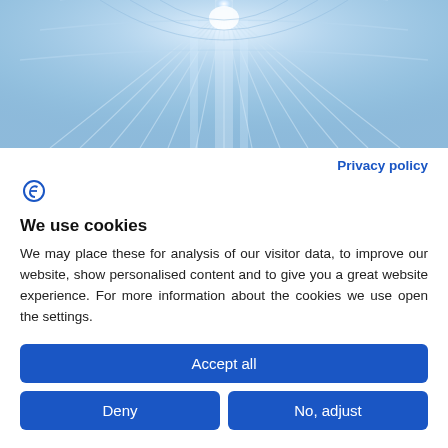[Figure (photo): Close-up photo of a tanning bed or light therapy device interior with blue/white light rays radiating from center]
Privacy policy
[Figure (logo): Blue stylized F or epsilon logo mark]
We use cookies
We may place these for analysis of our visitor data, to improve our website, show personalised content and to give you a great website experience. For more information about the cookies we use open the settings.
Accept all
Deny
No, adjust